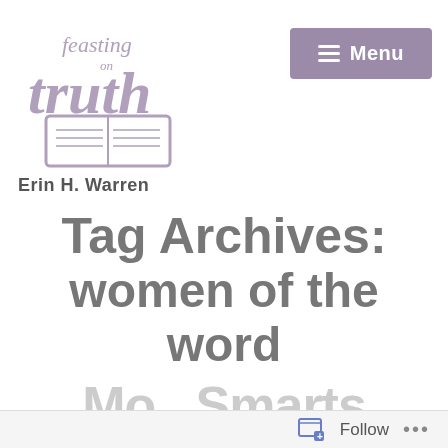[Figure (logo): Feasting on Truth logo with stylized script text 'feasting on truth' and an open book illustration, in muted purple/grey tones]
Erin H. Warren
[Figure (other): Menu button with hamburger icon, purple/mauve background]
Tag Archives: women of the word
Mo...Smarts (partially visible, cropped)
Follow ...